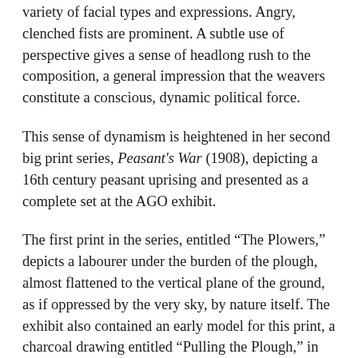variety of facial types and expressions. Angry, clenched fists are prominent. A subtle use of perspective gives a sense of headlong rush to the composition, a general impression that the weavers constitute a conscious, dynamic political force.
This sense of dynamism is heightened in her second big print series, Peasant's War (1908), depicting a 16th century peasant uprising and presented as a complete set at the AGO exhibit.
The first print in the series, entitled “The Plowers,” depicts a labourer under the burden of the plough, almost flattened to the vertical plane of the ground, as if oppressed by the very sky, by nature itself. The exhibit also contained an early model for this print, a charcoal drawing entitled “Pulling the Plough,” in which an ominous “master” figure pushes down on the plower’s